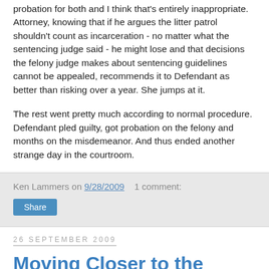probation for both and I think that's entirely inappropriate. Attorney, knowing that if he argues the litter patrol shouldn't count as incarceration - no matter what the sentencing judge said - he might lose and that decisions the felony judge makes about sentencing guidelines cannot be appealed, recommends it to Defendant as better than risking over a year. She jumps at it.
The rest went pretty much according to normal procedure. Defendant pled guilty, got probation on the felony and months on the misdemeanor. And thus ended another strange day in the courtroom.
Ken Lammers on 9/28/2009   1 comment:
Share
26 September 2009
Moving Closer to the Portable Electronic Office